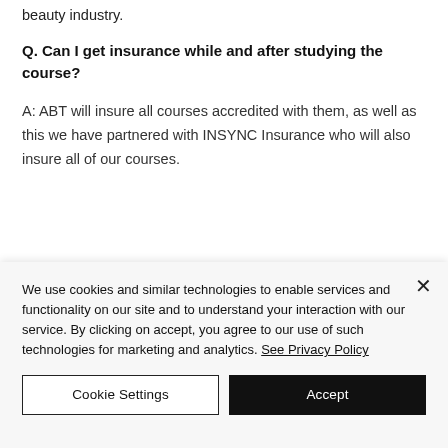beauty industry.
Q. Can I get insurance while and after studying the course?
A: ABT will insure all courses accredited with them, as well as this we have partnered with INSYNC Insurance who will also insure all of our courses.
We use cookies and similar technologies to enable services and functionality on our site and to understand your interaction with our service. By clicking on accept, you agree to our use of such technologies for marketing and analytics. See Privacy Policy